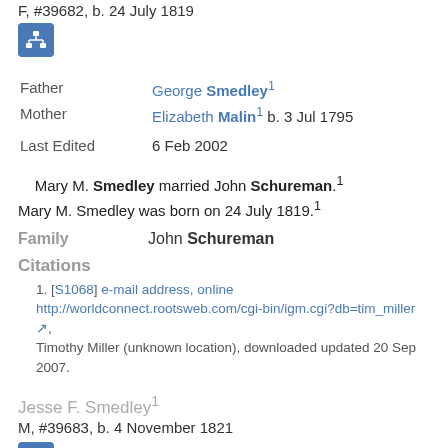F, #39682, b. 24 July 1819
[Figure (other): Blue icon button with org-chart/hierarchy symbol]
Father  George Smedley1
Mother  Elizabeth Malin1 b. 3 Jul 1795
Last Edited  6 Feb 2002
Mary M. Smedley married John Schureman.1
Mary M. Smedley was born on 24 July 1819.1
Family  John Schureman
Citations
1. [S1068] e-mail address, online http://worldconnect.rootsweb.com/cgi-bin/igm.cgi?db=tim_miller, Timothy Miller (unknown location), downloaded updated 20 Sep 2007.
Jesse F. Smedley1
M, #39683, b. 4 November 1821
[Figure (other): Blue icon button with org-chart/hierarchy symbol]